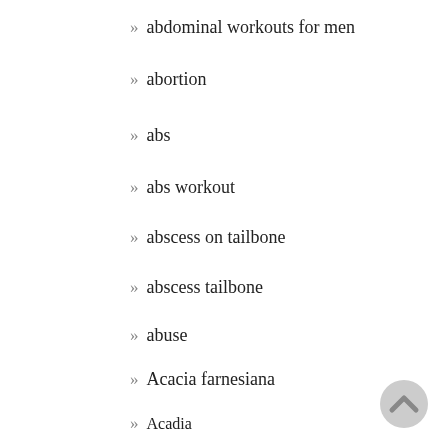» abdominal workouts for men
» abortion
» abs
» abs workout
» abscess on tailbone
» abscess tailbone
» abuse
» Acacia farnesiana
» Acadia
» Acadia National Park
» acai
» A... (M...)